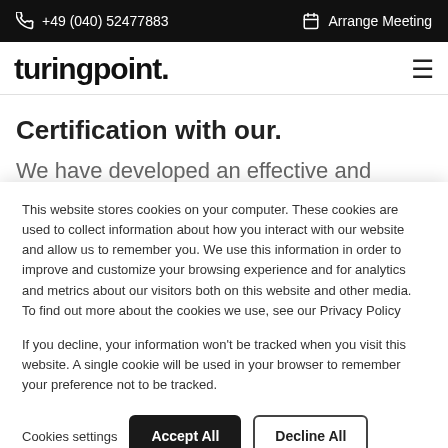📞 +49 (040) 52477883   🗓 Arrange Meeting
turingpoint.
Certification with our.
We have developed an effective and comprehensive format for verifiable security that
This website stores cookies on your computer. These cookies are used to collect information about how you interact with our website and allow us to remember you. We use this information in order to improve and customize your browsing experience and for analytics and metrics about our visitors both on this website and other media. To find out more about the cookies we use, see our Privacy Policy

If you decline, your information won't be tracked when you visit this website. A single cookie will be used in your browser to remember your preference not to be tracked.
Cookies settings   Accept All   Decline All